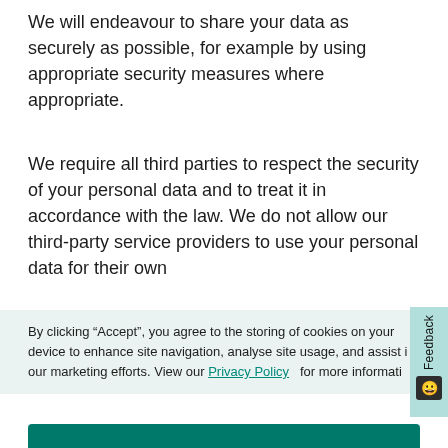We will endeavour to share your data as securely as possible, for example by using appropriate security measures where appropriate.
We require all third parties to respect the security of your personal data and to treat it in accordance with the law. We do not allow our third-party service providers to use your personal data for their own
By clicking “Accept”, you agree to the storing of cookies on your device to enhance site navigation, analyse site usage, and assist in our marketing efforts. View our Privacy Policy for more information